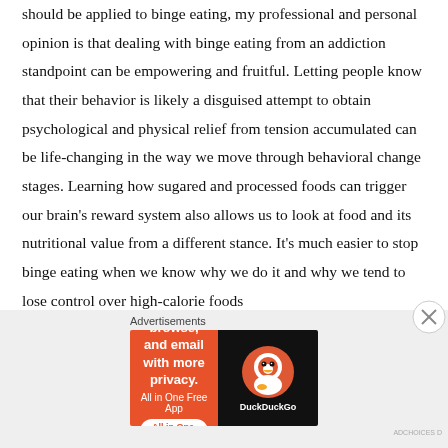should be applied to binge eating, my professional and personal opinion is that dealing with binge eating from an addiction standpoint can be empowering and fruitful. Letting people know that their behavior is likely a disguised attempt to obtain psychological and physical relief from tension accumulated can be life-changing in the way we move through behavioral change stages. Learning how sugared and processed foods can trigger our brain's reward system also allows us to look at food and its nutritional value from a different stance. It's much easier to stop binge eating when we know why we do it and why we tend to lose control over high-calorie foods
Advertisements
[Figure (infographic): DuckDuckGo advertisement banner with orange background on left side showing 'Search, browse, and email with more privacy. All in One Free App' text, and dark right panel with DuckDuckGo logo and duck icon.]